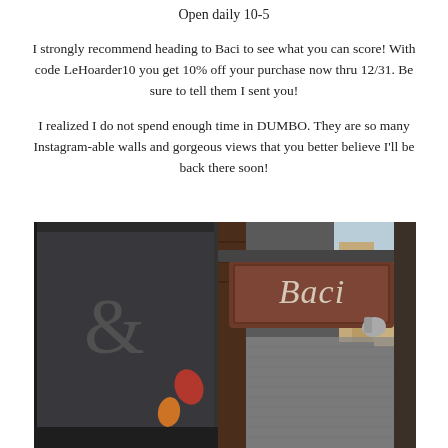Open daily 10-5
I strongly recommend heading to Baci to see what you can score! With code LeHoarder10 you get 10% off your purchase now thru 12/31. Be sure to tell them I sent you!
I realized I do not spend enough time in DUMBO. They are so many Instagram-able walls and gorgeous views that you better believe I'll be back there soon!
[Figure (photo): Street-level photo of the Baci store exterior in DUMBO, showing a brown wooden sign with 'Baci' in script lettering, dark window frames, decorative iron ampersand, autumn leaf decorations, and buildings visible in background.]